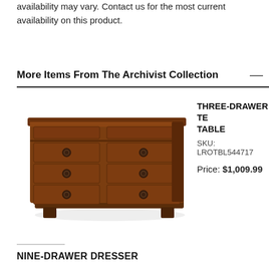availability may vary. Contact us for the most current availability on this product.
More Items From The Archivist Collection
[Figure (photo): A nine-drawer wooden dresser with dark cherry finish and round ring pulls, shown on white background.]
THREE-DRAWER TE... TABLE
SKU: LROTBL544717
Price: $1,009.99
NINE-DRAWER DRESSER